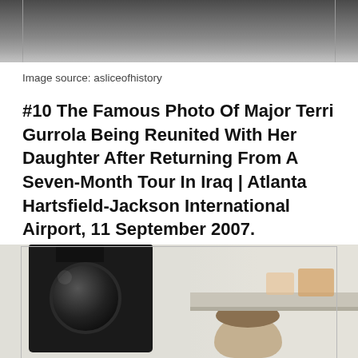[Figure (photo): Top portion of a photograph showing people in formal attire, cropped at top of page]
Image source: asliceofhistory
#10 The Famous Photo Of Major Terri Gurrola Being Reunited With Her Daughter After Returning From A Seven-Month Tour In Iraq | Atlanta Hartsfield-Jackson International Airport, 11 September 2007. Photograph By Loui Favorite
[Figure (photo): Bottom portion showing a photographer with camera and a person with short hair in an airport setting]